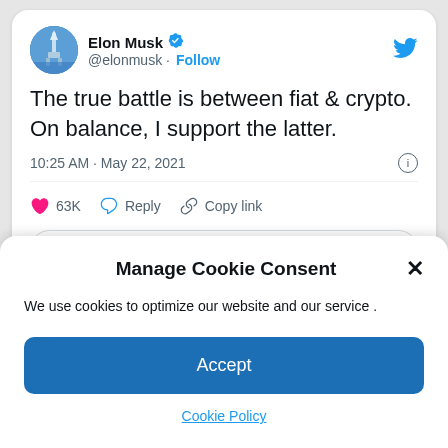[Figure (screenshot): Twitter/X tweet card showing Elon Musk's tweet with avatar, verified badge, handle, follow button, tweet text, timestamp, like count, reply and copy link actions, and read replies button]
The true battle is between fiat & crypto. On balance, I support the latter.
10:25 AM · May 22, 2021
63K  Reply  Copy link
Read 5.3K replies
Manage Cookie Consent
We use cookies to optimize our website and our service .
Accept
Cookie Policy